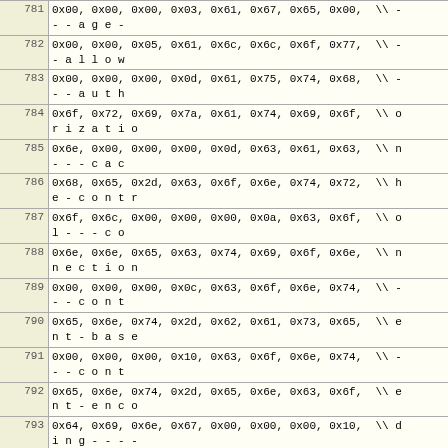| Line | Code |
| --- | --- |
| 781 | 0x00, 0x00, 0x00, 0x03, 0x61, 0x67, 0x65, 0x00,  \\ -
- - a g e - |
| 782 | 0x00, 0x00, 0x05, 0x61, 0x6c, 0x6c, 0x6f, 0x77,  \\ -
- a l l o w |
| 783 | 0x00, 0x00, 0x00, 0x0d, 0x61, 0x75, 0x74, 0x68,  \\ -
- - a u t h |
| 784 | 0x6f, 0x72, 0x69, 0x7a, 0x61, 0x74, 0x69, 0x6f,  \\ o
r i z a t i o |
| 785 | 0x6e, 0x00, 0x00, 0x00, 0x0d, 0x63, 0x61, 0x63,  \\ n
- - - c a c |
| 786 | 0x68, 0x65, 0x2d, 0x63, 0x6f, 0x6e, 0x74, 0x72,  \\ h
e - c o n t r |
| 787 | 0x6f, 0x6c, 0x00, 0x00, 0x00, 0x0a, 0x63, 0x6f,  \\ o
l - - - c o |
| 788 | 0x6e, 0x6e, 0x65, 0x63, 0x74, 0x69, 0x6f, 0x6e,  \\ n
n e c t i o n |
| 789 | 0x00, 0x00, 0x00, 0x0c, 0x63, 0x6f, 0x6e, 0x74,  \\ -
- - c o n t |
| 790 | 0x65, 0x6e, 0x74, 0x2d, 0x62, 0x61, 0x73, 0x65,  \\ e
n t - b a s e |
| 791 | 0x00, 0x00, 0x00, 0x10, 0x63, 0x6f, 0x6e, 0x74,  \\ -
- - c o n t |
| 792 | 0x65, 0x6e, 0x74, 0x2d, 0x65, 0x6e, 0x63, 0x6f,  \\ e
n t - e n c o |
| 793 | 0x64, 0x69, 0x6e, 0x67, 0x00, 0x00, 0x00, 0x10,  \\ d
i n g - - - - |
| 794 | 0x63, 0x6f, 0x6e, 0x74, 0x65, 0x6e, 0x74, 0x2d,  \\ c
o n t e n t - |
| 795 | 0x6c, 0x61, 0x6e, 0x67, 0x75, 0x61, 0x67, 0x65,  \\ l
a n g u a g e |
| 796 | 0x00, 0x00, 0x00, 0x0e, 0x63, 0x6f, 0x6e, 0x74,  \\ -
- - c o n t |
| 797 | 0x65, 0x6e, 0x74, 0x2d, 0x6c, 0x65, 0x6e, 0x67,  \\ e
n t - l e n g |